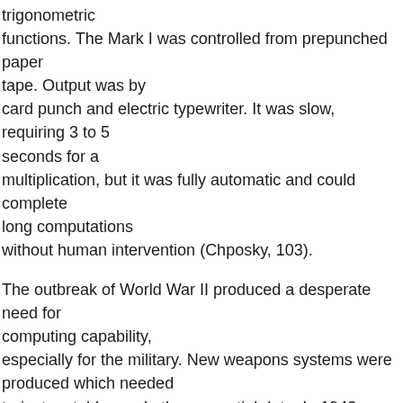trigonometric functions. The Mark I was controlled from prepunched paper tape. Output was by card punch and electric typewriter. It was slow, requiring 3 to 5 seconds for a multiplication, but it was fully automatic and could complete long computations without human intervention (Chposky, 103).
The outbreak of World War II produced a desperate need for computing capability, especially for the military. New weapons systems were produced which needed trajectory tables and other essential data. In 1942, John P. Eckert, John W. Mauchly and their associates at the University of Pennsylvania decided to build a high-speed electronic computer to do the job.